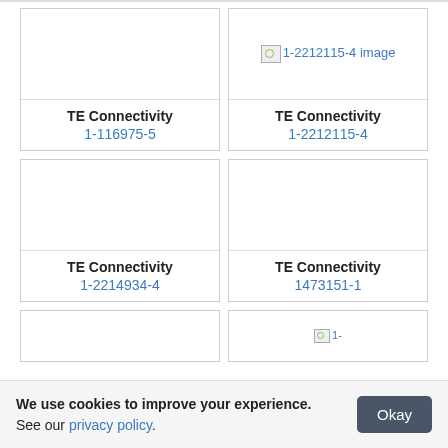[Figure (other): Product image placeholder (empty) for TE Connectivity 1-116975-5]
[Figure (other): Broken image placeholder labeled '1-2212115-4 image' for TE Connectivity 1-2212115-4]
TE Connectivity
1-116975-5
TE Connectivity
1-2212115-4
[Figure (other): Product image placeholder (empty) for TE Connectivity 1-2214934-4]
[Figure (other): Product image placeholder (empty) for TE Connectivity 1473151-1]
TE Connectivity
1-2214934-4
TE Connectivity
1473151-1
[Figure (other): Product image placeholder (empty) - partial view bottom]
[Figure (other): Broken image placeholder partially visible at bottom]
We use cookies to improve your experience. See our privacy policy.
Okay